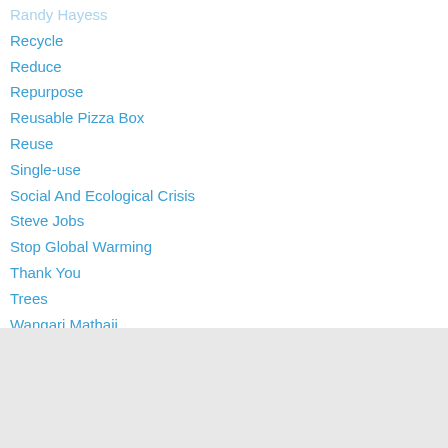Randy Hayess
Recycle
Reduce
Repurpose
Reusable Pizza Box
Reuse
Single-use
Social And Ecological Crisis
Steve Jobs
Stop Global Warming
Thank You
Trees
Wangari Mathaii
RSS Feed